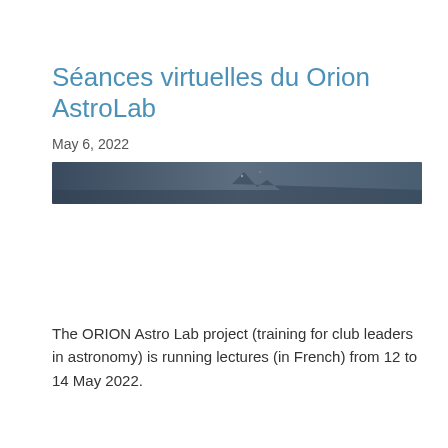Séances virtuelles du Orion AstroLab
May 6, 2022
[Figure (photo): Dark blue night sky banner image, narrow horizontal strip showing a dark bluish-grey sky with faint silhouettes or stars.]
The ORION Astro Lab project (training for club leaders in astronomy) is running lectures (in French) from 12 to 14 May 2022.